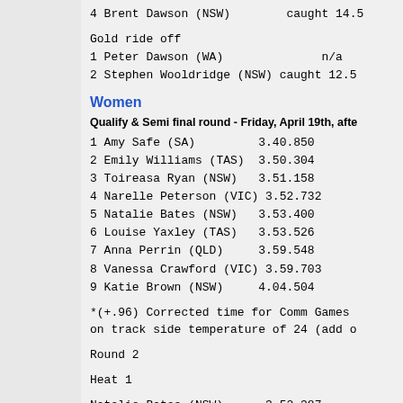4 Brent Dawson (NSW)        caught 14.5
Gold ride off
1 Peter Dawson (WA)              n/a
2 Stephen Wooldridge (NSW) caught 12.5
Women
Qualify & Semi final round - Friday, April 19th, afte
1 Amy Safe (SA)         3.40.850
2 Emily Williams (TAS)  3.50.304
3 Toireasa Ryan (NSW)   3.51.158
4 Narelle Peterson (VIC) 3.52.732
5 Natalie Bates (NSW)   3.53.400
6 Louise Yaxley (TAS)   3.53.526
7 Anna Perrin (QLD)     3.59.548
8 Vanessa Crawford (VIC) 3.59.703
9 Katie Brown (NSW)     4.04.504
*(+.96) Corrected time for Comm Games
on track side temperature of 24 (add o
Round 2
Heat 1
Natalie Bates (NSW)      3.52.387
Narelle Peterson (VIC)   3.52.611